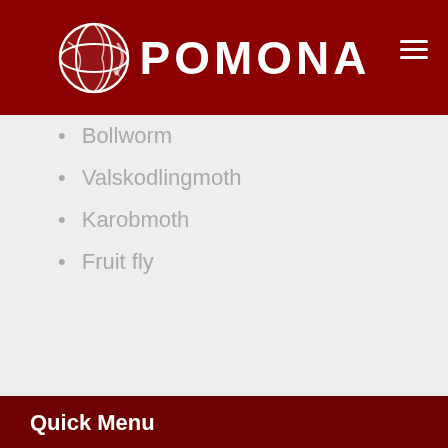[Figure (logo): Pomona company logo with globe icon and text POMONA on dark red background]
Bollworm
Valskodlingmoth
Karobmoth
Fruit fly
Quick Menu
Home
About Us
Farming Practices
Risk Management
Our Team